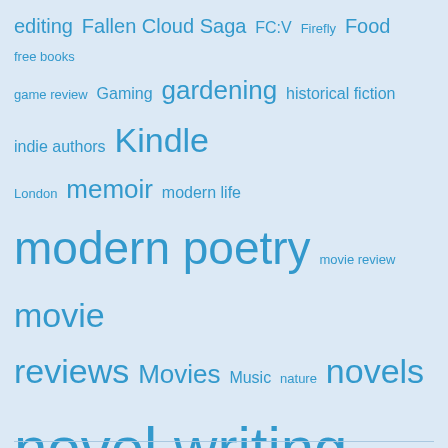[Figure (infographic): Tag cloud with blog-related terms in various sizes in blue on light blue background. Terms include: editing, Fallen Cloud Saga, FC:V, Firefly, Food, free books, game review, Gaming, gardening, historical fiction, indie authors, Kindle, London, memoir, modern life, modern poetry, movie review, movie reviews, Movies, Music, nature, novels, novel writing, paris, photo, photography, Poetry, politics, publishing, quiet living, Reading, Recipe, recipes, reviews, Seattle, seattle weather, self-isolation, self-publishing, Serenity, Shakespeare, short fiction, short stories, simple living, simplification, social media, stress management, television, television reviews, The Wolf Tree, Travel, travelogue, Trump, Unraveling Time, vignettes, weather, Writing, writing life, writing novels, writing techniques, writing tips]